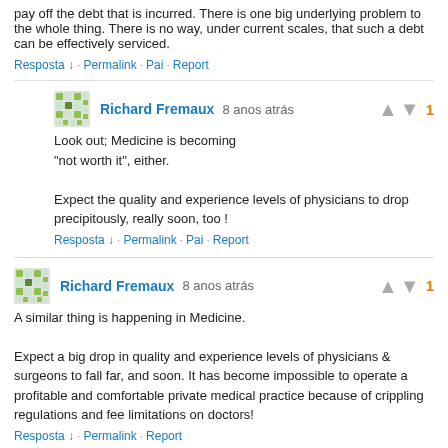pay off the debt that is incurred. There is one big underlying problem to the whole thing. There is no way, under current scales, that such a debt can be effectively serviced.
Resposta ↓ · Permalink · Pai · Report
Richard Fremaux 8 anos atrás
Look out; Medicine is becoming "not worth it", either.

Expect the quality and experience levels of physicians to drop precipitously, really soon, too !
Resposta ↓ · Permalink · Pai · Report
Richard Fremaux 8 anos atrás
A similar thing is happening in Medicine.

Expect a big drop in quality and experience levels of physicians & surgeons to fall far, and soon. It has become impossible to operate a profitable and comfortable private medical practice because of crippling regulations and fee limitations on doctors!
Resposta ↓ · Permalink · Report
PhotoFinish 8 anos atrás
Like everywhere else, a large proportion of physicians are angling for the best